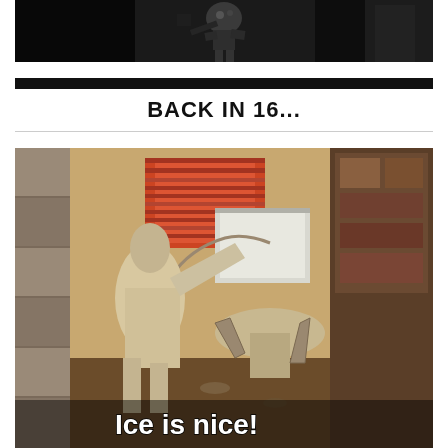[Figure (photo): Black and white photo of a robot or mechanical figure, appears to be from a movie scene]
BACK IN 16...
[Figure (photo): Color still from a TV show or movie showing a kitchen/living room interior, with a caption 'Ice is nice!' at the bottom]